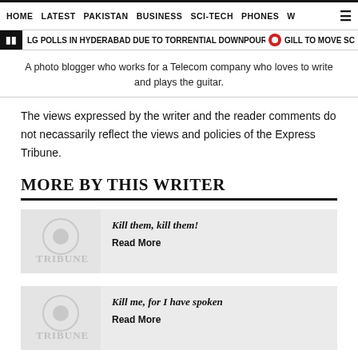HOME   LATEST   PAKISTAN   BUSINESS   SCI-TECH   PHONES   W   ≡
LG POLLS IN HYDERABAD DUE TO TORRENTIAL DOWNPOURS   GILL TO MOVE SC
A photo blogger who works for a Telecom company who loves to write and plays the guitar.
The views expressed by the writer and the reader comments do not necassarily reflect the views and policies of the Express Tribune.
MORE BY THIS WRITER
[Figure (logo): Tribune logo watermark on grey background]
Kill them, kill them!
Read More
[Figure (logo): Tribune logo watermark on grey background]
Kill me, for I have spoken
Read More